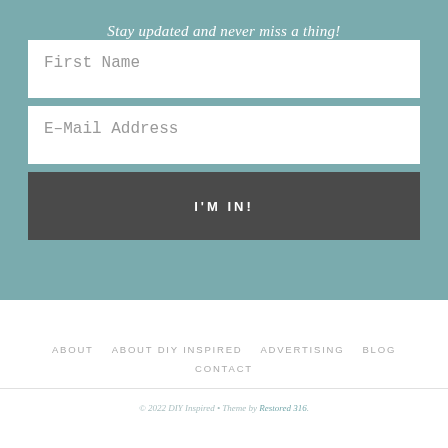Stay updated and never miss a thing!
First Name
E-Mail Address
I'M IN!
ABOUT   ABOUT DIY INSPIRED   ADVERTISING   BLOG
CONTACT
© 2022 DIY Inspired • Theme by Restored 316.